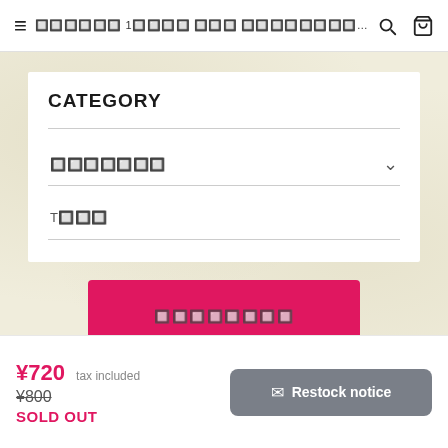≡  ［日本語サイト名 | Ca...  🔍  🛒
CATEGORY
（カテゴリ選択）
T（型番）
（カートに入れる）
© Captain Romany
¥720 tax included
¥800
SOLD OUT
✉ Restock notice